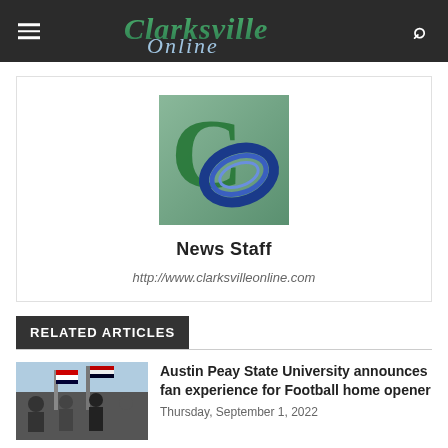Clarksville Online
[Figure (logo): Clarksville Online CO logo — green C and blue O interlocked on a green gradient background]
News Staff
http://www.clarksvilleonline.com
RELATED ARTICLES
[Figure (photo): People holding American flags, crowd scene at a sporting event]
Austin Peay State University announces fan experience for Football home opener
Thursday, September 1, 2022